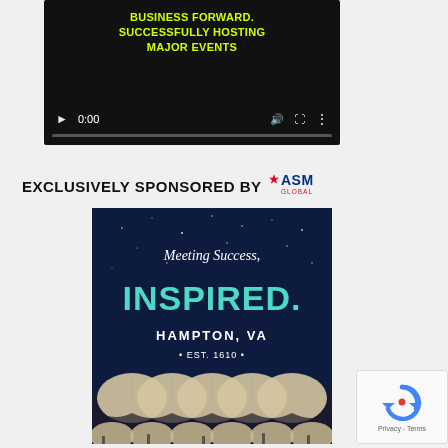[Figure (screenshot): Video player with dark background showing text 'BUSINESS FORWARD. SUCCESSFULLY HOSTING MAJOR EVENTS' in bright yellow-green, with playback controls showing 0:00 and a progress bar]
EXCLUSIVELY SPONSORED BY ASM GLOBAL
[Figure (illustration): Advertisement for Hampton, VA showing 'Meeting Success, INSPIRED. HAMPTON, VA • EST. 1610 •' with a night sky background and illuminated tent structure at the bottom]
[Figure (other): reCAPTCHA widget with Privacy - Terms links]